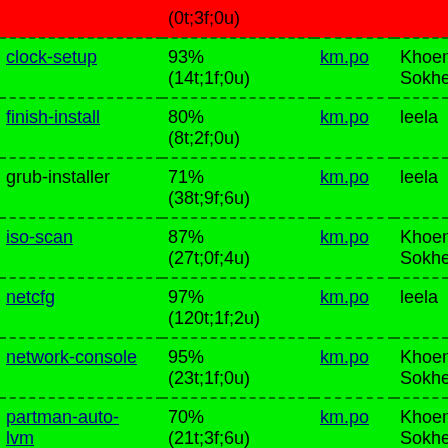| Package | Completion | File | Translator |
| --- | --- | --- | --- |
| (0t;3f;0u) |  |  |  |
| clock-setup | 93%
(14t;1f;0u) | km.po | Khoem Sokhem |
| finish-install | 80%
(8t;2f;0u) | km.po | leela |
| grub-installer | 71%
(38t;9f;6u) | km.po | leela |
| iso-scan | 87%
(27t;0f;4u) | km.po | Khoem Sokhem |
| netcfg | 97%
(120t;1f;2u) | km.po | leela |
| network-console | 95%
(23t;1f;0u) | km.po | Khoem Sokhem |
| partman-auto-lvm | 70%
(21t;3f;6u) | km.po | Khoem Sokhem |
| partman- | 92%
(70t;4f;6u) | km.po | Khoem Sokhem |